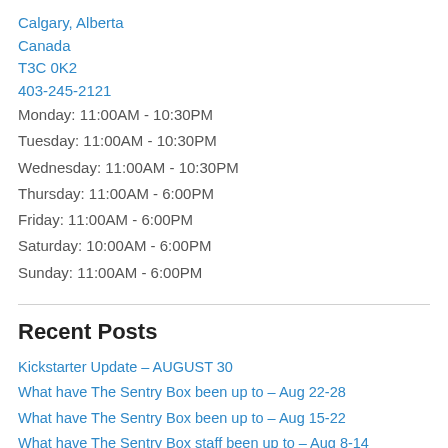Calgary, Alberta
Canada
T3C 0K2
403-245-2121
Monday: 11:00AM - 10:30PM
Tuesday: 11:00AM - 10:30PM
Wednesday: 11:00AM - 10:30PM
Thursday: 11:00AM - 6:00PM
Friday: 11:00AM - 6:00PM
Saturday: 10:00AM - 6:00PM
Sunday: 11:00AM - 6:00PM
Recent Posts
Kickstarter Update – AUGUST 30
What have The Sentry Box been up to – Aug 22-28
What have The Sentry Box been up to – Aug 15-22
What have The Sentry Box staff been up to – Aug 8-14
What have The Sentry Box staff been up to – July 25-31